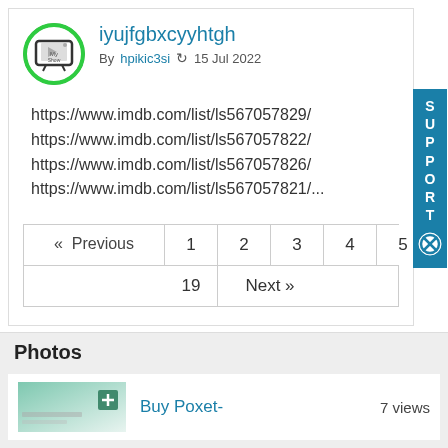iyujfgbxcyyhtgh
By hpikic3si  15 Jul 2022
https://www.imdb.com/list/ls567057829/
https://www.imdb.com/list/ls567057822/
https://www.imdb.com/list/ls567057826/
https://www.imdb.com/list/ls567057821/...
« Previous  1  2  3  4  5  ...  19  Next »
Photos
Buy Poxet-  7 views